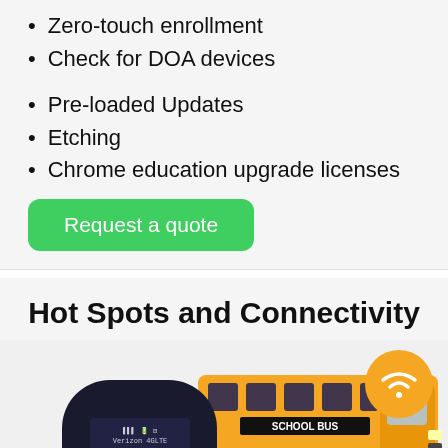Zero-touch enrollment
Check for DOA devices
Pre-loaded Updates
Etching
Chrome education upgrade licenses
Request a quote
Hot Spots and Connectivity
[Figure (photo): A Kajeet mobile hotspot device (dark rounded rectangle with small screen showing Verizon 4G LTE signal) next to a yellow school bus with a WiFi symbol in an orange circle overlay]